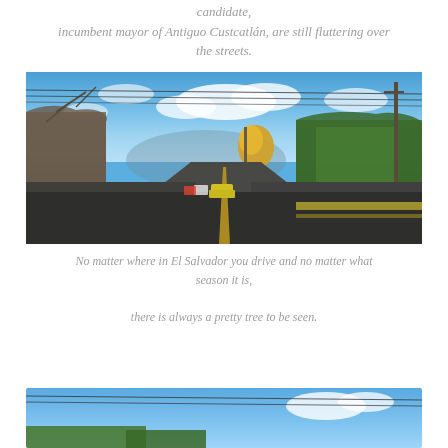candidate, incumbent mayor of Antiguo Custcatlán, are still fluttering over the streets.
[Figure (photo): A road in El Salvador lined with trees; one tree with yellow flowers visible in the center distance, a yellow car on the road, power lines overhead, blue sky with clouds.]
No matter where in El Salvador you drive and no matter what season it is, there is always a pretty tree to be seen.
[Figure (photo): Partial view of another outdoor scene in El Salvador, showing blue sky and trees at the bottom of the page.]